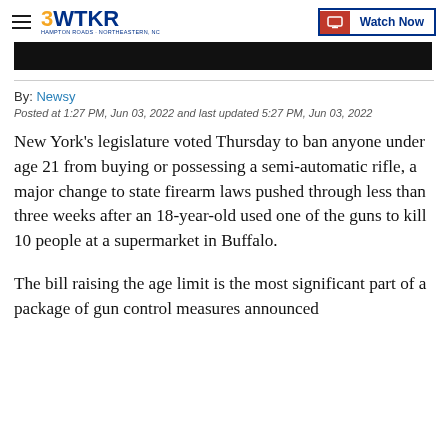3WTKR | Watch Now
[Figure (photo): Black image bar / video thumbnail area at top of article]
By: Newsy
Posted at 1:27 PM, Jun 03, 2022 and last updated 5:27 PM, Jun 03, 2022
New York's legislature voted Thursday to ban anyone under age 21 from buying or possessing a semi-automatic rifle, a major change to state firearm laws pushed through less than three weeks after an 18-year-old used one of the guns to kill 10 people at a supermarket in Buffalo.
The bill raising the age limit is the most significant part of a package of gun control measures announced